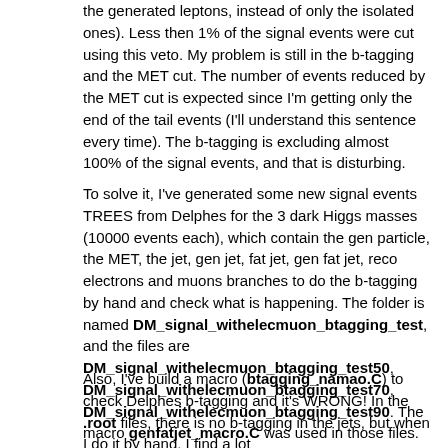the generated leptons, instead of only the isolated ones). Less then 1% of the signal events were cut using this veto. My problem is still in the b-tagging and the MET cut. The number of events reduced by the MET cut is expected since I'm getting only the end of the tail events (I'll understand this sentence every time). The b-tagging is excluding almost 100% of the signal events, and that is disturbing.
To solve it, I've generated some new signal events TREES from Delphes for the 3 dark Higgs masses (10000 events each), which contain the gen particle, the MET, the jet, gen jet, fat jet, gen fat jet, reco electrons and muons branches to do the b-tagging by hand and check what is happening. The folder is named DM_signal_withelecmuon_btagging_test, and the files are DM_signal_withelecmuon_btagging_test50, DM_signal_withelecmuon_btagging_test70, DM_signal_withelecmuon_btagging_test90. The macro genfatjet_macro.C was used in those files.
Also, I've build a macro (btagging_namao.C) to check Delphes b-tagging and it's WRONG! In the .root files, there is no b-tagging in the jets, but when I do it by hand, I find a lot